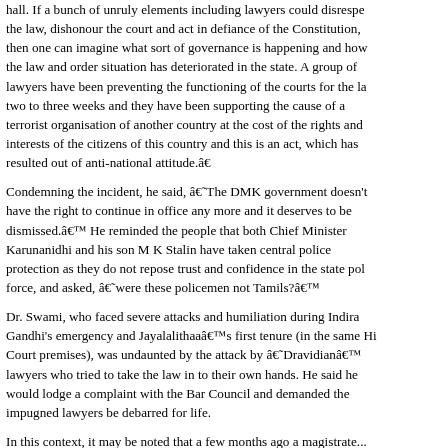g... ...hall. If a bunch of unruly elements including lawyers could disrespect the law, dishonour the court and act in defiance of the Constitution, then one can imagine what sort of governance is happening and how the law and order situation has deteriorated in the state. A group of lawyers have been preventing the functioning of the courts for the last two to three weeks and they have been supporting the cause of a terrorist organisation of another country at the cost of the rights and interests of the citizens of this country and this is an act, which has resulted out of anti-national attitude.â
Condemning the incident, he said, âThe DMK government doesn’t have the right to continue in office any more and it deserves to be dismissed.â He reminded the people that both Chief Minister Karunanidhi and his son M K Stalin have taken central police protection as they do not repose trust and confidence in the state police force, and asked, âwere these policemen not Tamils?â
Dr. Swami, who faced severe attacks and humiliation during Indira Gandhi's emergency and Jayalalithaaâs first tenure (in the same High Court premises), was undaunted by the attack by âDravidianâ lawyers who tried to take the law in to their own hands. He said he would lodge a complaint with the Bar Council and demanded the impugned lawyers be debarred for life.
In this context, it may be noted that a few months ago a magistrate...